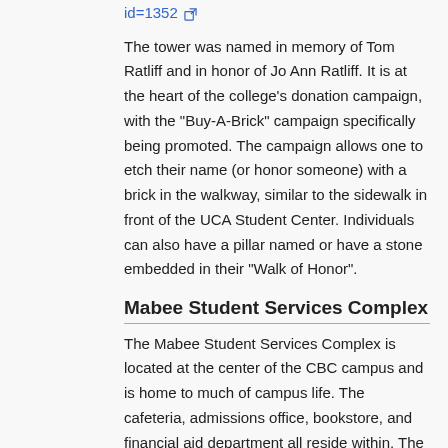id=1352 [external link]
The tower was named in memory of Tom Ratliff and in honor of Jo Ann Ratliff. It is at the heart of the college's donation campaign, with the "Buy-A-Brick" campaign specifically being promoted. The campaign allows one to etch their name (or honor someone) with a brick in the walkway, similar to the sidewalk in front of the UCA Student Center. Individuals can also have a pillar named or have a stone embedded in their "Walk of Honor".
Mabee Student Services Complex
The Mabee Student Services Complex is located at the center of the CBC campus and is home to much of campus life. The cafeteria, admissions office, bookstore, and financial aid department all reside within. The complex also holds a game room, a community room, and a snack bar for both students and the community.
Bruce Hall
Bruce Hall is the women's on campus